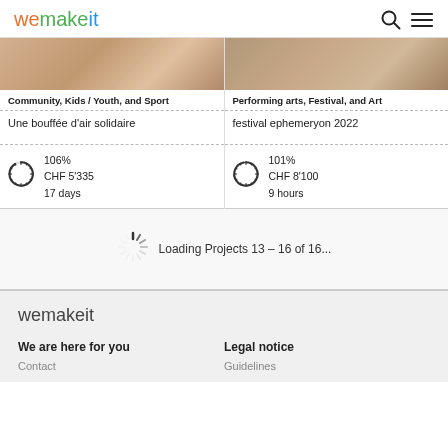wemakeit
[Figure (photo): Two cropped project images at top of cards]
Community, Kids / Youth, and Sport
Performing arts, Festival, and Art
Une bouffée d'air solidaire
festival ephemeryon 2022
[Figure (infographic): Circular progress ring showing ~106% funding]
106%
CHF 5'335
17 days
[Figure (infographic): Circular progress ring showing ~101% funding]
101%
CHF 8'100
9 hours
Loading Projects 13 – 16 of 16...
wemakeit
We are here for you
Legal notice
Contact
Guidelines